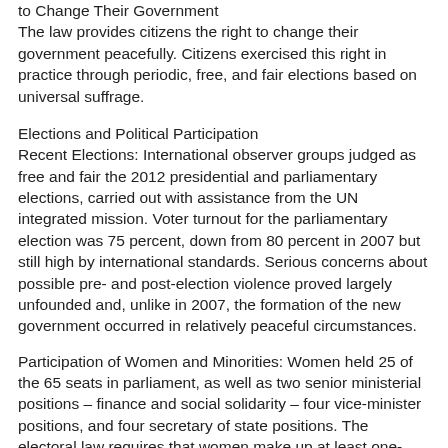to Change Their Government
The law provides citizens the right to change their government peacefully. Citizens exercised this right in practice through periodic, free, and fair elections based on universal suffrage.
Elections and Political Participation
Recent Elections: International observer groups judged as free and fair the 2012 presidential and parliamentary elections, carried out with assistance from the UN integrated mission. Voter turnout for the parliamentary election was 75 percent, down from 80 percent in 2007 but still high by international standards. Serious concerns about possible pre- and post-election violence proved largely unfounded and, unlike in 2007, the formation of the new government occurred in relatively peaceful circumstances.
Participation of Women and Minorities: Women held 25 of the 65 seats in parliament, as well as two senior ministerial positions – finance and social solidarity – four vice-minister positions, and four secretary of state positions. The electoral law requires that women make up at least one-third of the